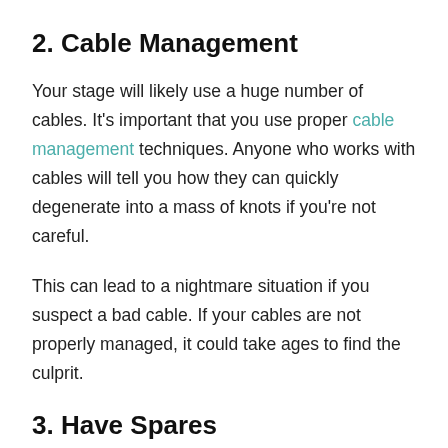2. Cable Management
Your stage will likely use a huge number of cables. It's important that you use proper cable management techniques. Anyone who works with cables will tell you how they can quickly degenerate into a mass of knots if you're not careful.
This can lead to a nightmare situation if you suspect a bad cable. If your cables are not properly managed, it could take ages to find the culprit.
3. Have Spares
Whether you're thinking of how to set up a stage for a band or a large event, you should have as many backups as possible. For example, a band that can't hear themselves will